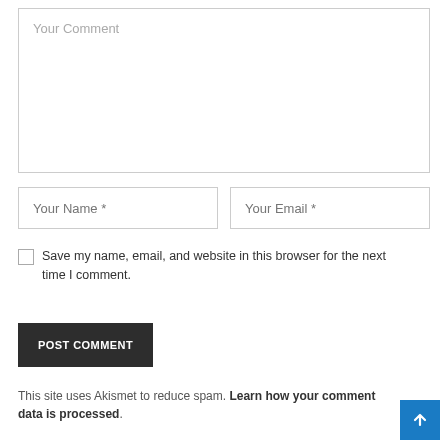[Figure (screenshot): Comment form textarea with placeholder text 'Your Comment']
[Figure (screenshot): Two input fields side by side: 'Your Name *' and 'Your Email *']
Save my name, email, and website in this browser for the next time I comment.
[Figure (screenshot): POST COMMENT button, dark background]
This site uses Akismet to reduce spam. Learn how your comment data is processed.